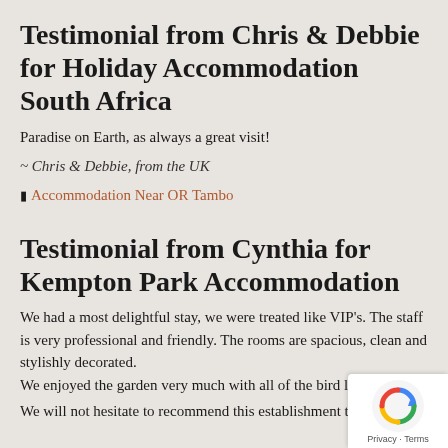Testimonial from Chris & Debbie for Holiday Accommodation South Africa
Paradise on Earth, as always a great visit!
~ Chris & Debbie, from the UK
Accommodation Near OR Tambo
Testimonial from Cynthia for Kempton Park Accommodation
We had a most delightful stay, we were treated like VIP's. The staff is very professional and friendly. The rooms are spacious, clean and stylishly decorated.
We enjoyed the garden very much with all of the bird life
We will not hesitate to recommend this establishment to all